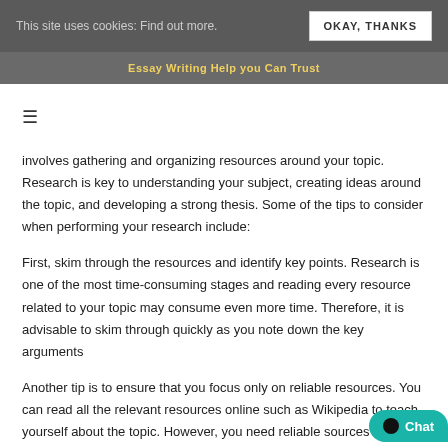This site uses cookies: Find out more. | OKAY, THANKS
Essay Writing Help you Can Trust
involves gathering and organizing resources around your topic. Research is key to understanding your subject, creating ideas around the topic, and developing a strong thesis. Some of the tips to consider when performing your research include:
First, skim through the resources and identify key points. Research is one of the most time-consuming stages and reading every resource related to your topic may consume even more time. Therefore, it is advisable to skim through quickly as you note down the key arguments
Another tip is to ensure that you focus only on reliable resources. You can read all the relevant resources online such as Wikipedia to teach yourself about the topic. However, you need reliable sources to write